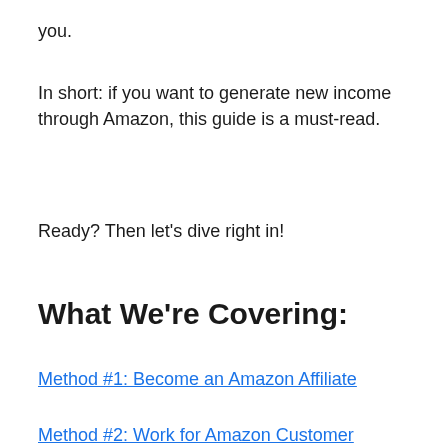you.
In short: if you want to generate new income through Amazon, this guide is a must-read.
Ready? Then let's dive right in!
What We're Covering:
Method #1: Become an Amazon Affiliate
Method #2: Work for Amazon Customer